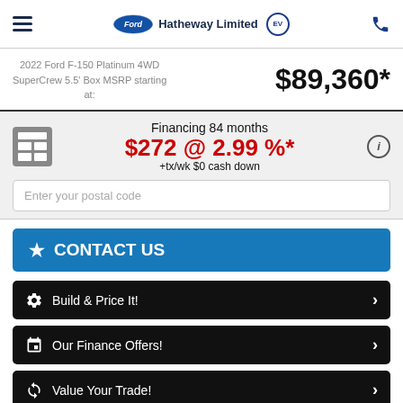Hatheway Limited EV
2022 Ford F-150 Platinum 4WD SuperCrew 5.5' Box MSRP starting at:
$89,360*
Financing 84 months
$272 @ 2.99 %*
+tx/wk $0 cash down
Enter your postal code
CONTACT US
Build & Price It!
Our Finance Offers!
Value Your Trade!
*Options and accessories may vary depending on version. MSRP price